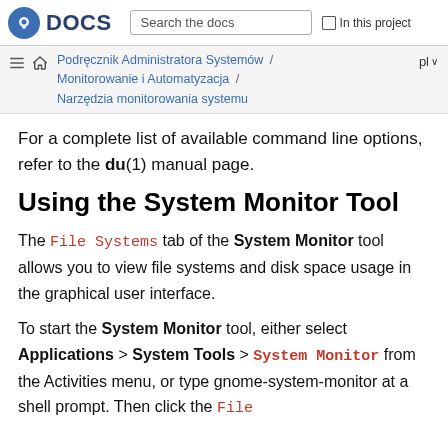DOCS | Search the docs | In this project
Podręcznik Administratora Systemów / Monitorowanie i Automatyzacja / Narzędzia monitorowania systemu | pl
For a complete list of available command line options, refer to the du(1) manual page.
Using the System Monitor Tool
The File Systems tab of the System Monitor tool allows you to view file systems and disk space usage in the graphical user interface.
To start the System Monitor tool, either select Applications > System Tools > System Monitor from the Activities menu, or type gnome-system-monitor at a shell prompt. Then click the File